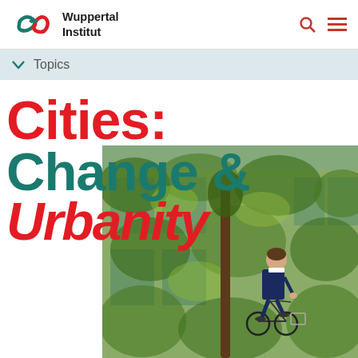Wuppertal Institut
Topics
Cities: Change & Urbanity
[Figure (photo): Man in navy suit riding a bicycle in front of a building covered in green climbing plants and ivy, with large windows visible behind the vegetation.]